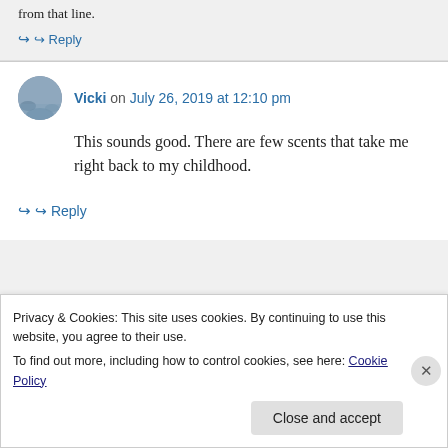from that line.
↪ Reply
Vicki on July 26, 2019 at 12:10 pm
This sounds good. There are few scents that take me right back to my childhood.
↪ Reply
Privacy & Cookies: This site uses cookies. By continuing to use this website, you agree to their use.
To find out more, including how to control cookies, see here: Cookie Policy
Close and accept